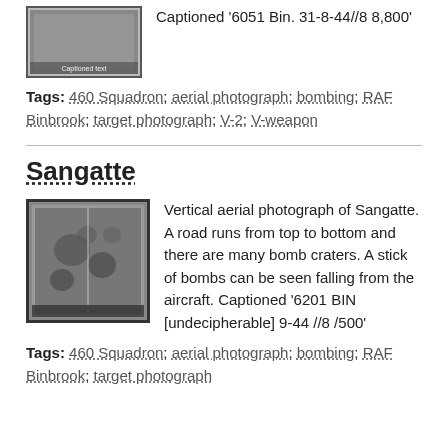[Figure (photo): Small thumbnail aerial photograph, dark image with caption text visible]
Captioned '6051 Bin. 31-8-44//8 8,800'
Tags: 460 Squadron; aerial photograph; bombing; RAF Binbrook; target photograph; V-2; V-weapon
Sangatte
[Figure (photo): Vertical aerial photograph of Sangatte showing bomb craters and a road running top to bottom, with a stick of bombs visible falling from the aircraft]
Vertical aerial photograph of Sangatte. A road runs from top to bottom and there are many bomb craters. A stick of bombs can be seen falling from the aircraft. Captioned '6201 BIN [undecipherable] 9-44 //8 /500'
Tags: 460 Squadron; aerial photograph; bombing; RAF Binbrook; target photograph